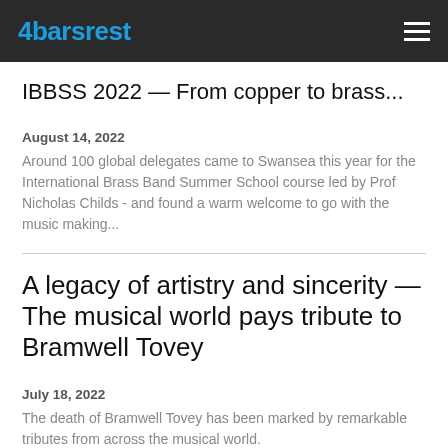4barsrest
IBBSS 2022 — From copper to brass...
August 14, 2022
Around 100 global delegates came to Swansea this year for the International Brass Band Summer School course led by Prof Nicholas Childs - and found a warm welcome to go with the music making...
A legacy of artistry and sincerity — The musical world pays tribute to Bramwell Tovey
July 18, 2022
The death of Bramwell Tovey has been marked by remarkable tributes from across the musical world.